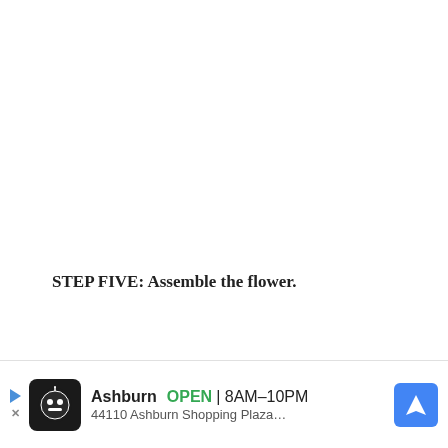STEP FIVE: Assemble the flower.
[Figure (photo): Bottom portion of page showing decorative green leaves/foliage on a white background]
[Figure (infographic): Advertisement bar: Ashburn location, OPEN 8AM-10PM, 44110 Ashburn Shopping Plaza...]